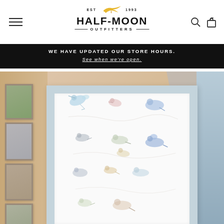[Figure (logo): Half-Moon Outfitters logo with bird silhouette, EST 1993]
WE HAVE UPDATED OUR STORE HOURS.
See when we're open.
[Figure (photo): Product photo showing a framed bird illustration print displayed in a room setting with wooden wall background]